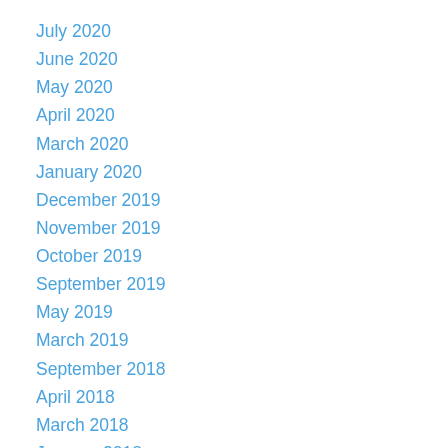July 2020
June 2020
May 2020
April 2020
March 2020
January 2020
December 2019
November 2019
October 2019
September 2019
May 2019
March 2019
September 2018
April 2018
March 2018
January 2018
December 2017
November 2017
August 2017
July 2017